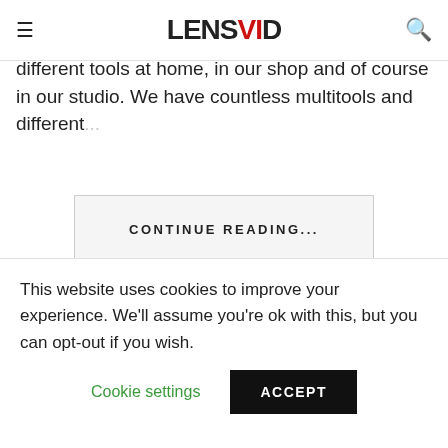LENSVID
We love tools, doing with our hands, be it photo and video accessories (we have tested dozens of different tools at home, in our shop and of course in our studio. We have countless multitools and different...
CONTINUE READING...
Tagged:
flat screwdriver
Folding Tool Set
LensVid
This website uses cookies to improve your experience. We'll assume you're ok with this, but you can opt-out if you wish.
Cookie settings
ACCEPT